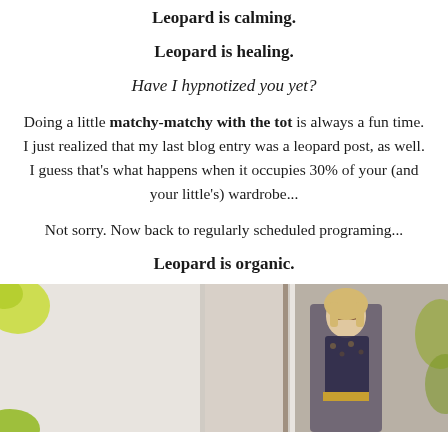Leopard is calming.
Leopard is healing.
Have I hypnotized you yet?
Doing a little matchy-matchy with the tot is always a fun time. I just realized that my last blog entry was a leopard post, as well. I guess that's what happens when it occupies 30% of your (and your little's) wardrobe...
Not sorry. Now back to regularly scheduled programing...
Leopard is organic.
[Figure (photo): A woman with blonde hair and sunglasses wearing a leopard print outfit, standing in a doorway. Yellow-green foliage visible in the foreground corners.]